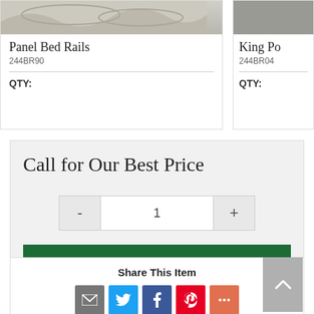[Figure (photo): Panel Bed Rails product image — decorative carved panel, light grey/cream tones]
Panel Bed Rails
244BR90
QTY:
[Figure (photo): Partially visible product image — King Po... item, grey tones]
King Po
244BR04
QTY:
Call for Our Best Price
1
Request Info
Share This Item